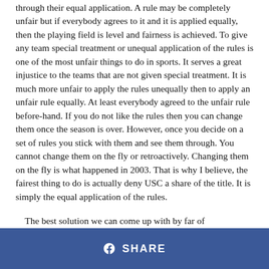through their equal application. A rule may be completely unfair but if everybody agrees to it and it is applied equally, then the playing field is level and fairness is achieved. To give any team special treatment or unequal application of the rules is one of the most unfair things to do in sports. It serves a great injustice to the teams that are not given special treatment. It is much more unfair to apply the rules unequally then to apply an unfair rule equally. At least everybody agreed to the unfair rule before-hand. If you do not like the rules then you can change them once the season is over. However, once you decide on a set of rules you stick with them and see them through. You cannot change them on the fly or retroactively. Changing them on the fly is what happened in 2003. That is why I believe, the fairest thing to do is actually deny USC a share of the title. It is simply the equal application of the rules.
The best solution we can come up with by far of
SHARE